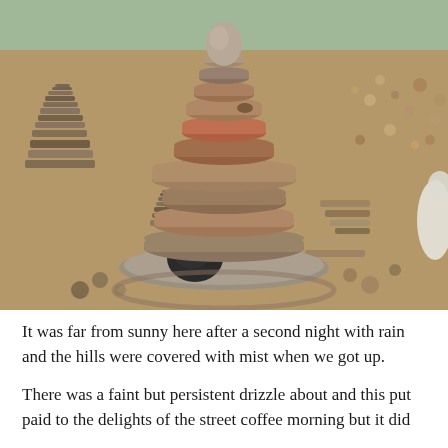[Figure (photo): Photograph of stacked stone cairns arranged on a rocky ground. A large central cairn made of flat layered rocks dominates the image, with a round grey stone at the top and a black rounded stone near its base. Smaller cairns and flat stones are arranged in circular patterns around it. A white animal (possibly a dog or goat) is partially visible at the right edge. The background shows grass and a pebbly surface.]
It was far from sunny here after a second night with rain and the hills were covered with mist when we got up.
There was a faint but persistent drizzle about and this put paid to the delights of the street coffee morning but it did